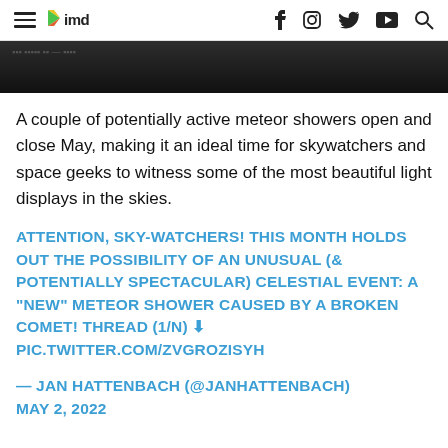IMD — navigation header with hamburger menu, IMD logo, and social icons (f, Instagram, Twitter, YouTube, Search)
[Figure (photo): Dark/black partial image at the top of the article, likely a night sky or telescope photo]
A couple of potentially active meteor showers open and close May, making it an ideal time for skywatchers and space geeks to witness some of the most beautiful light displays in the skies.
ATTENTION, SKY-WATCHERS! THIS MONTH HOLDS OUT THE POSSIBILITY OF AN UNUSUAL (& POTENTIALLY SPECTACULAR) CELESTIAL EVENT: A "NEW" METEOR SHOWER CAUSED BY A BROKEN COMET! THREAD (1/N) ⬇ PIC.TWITTER.COM/ZVGROZISYH
— JAN HATTENBACH (@JANHATTENBACH) MAY 2, 2022